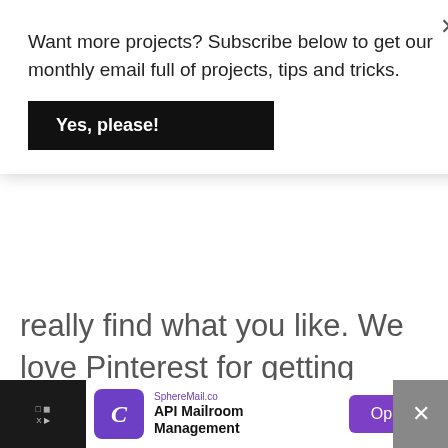Want more projects? Subscribe below to get our monthly email full of projects, tips and tricks.
Yes, please!
really find what you like. We love Pinterest for getting ideas.
Reply
Darlene sawchuk says
JANUARY 27, 2021 AT 7:04 PM
[Figure (logo): Lime green geometric star/snowflake avatar image]
SphereMail.co API Mailroom Management Open